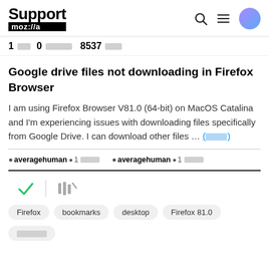Support mozilla // a
1 [placeholder] 0 [placeholder] 8537 [placeholder]
Google drive files not downloading in Firefox Browser
I am using Firefox Browser V81.0 (64-bit) on MacOS Catalina and I'm experiencing issues with downloading files specifically from Google Drive. I can download other files ... (more)
averagehuman [dot] 1 [placeholder]   averagehuman [dot] 1 [placeholder]
[Figure (other): Check mark icon and library/stack icon]
Firefox  bookmarks  desktop  Firefox 81.0